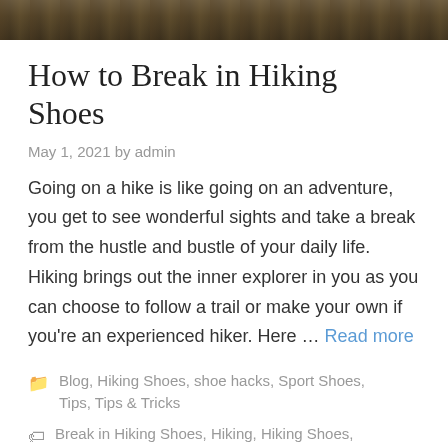[Figure (photo): Top portion of a photo showing a person in dark clothing outdoors on dry grass/ground, only lower body visible at top of page]
How to Break in Hiking Shoes
May 1, 2021 by admin
Going on a hike is like going on an adventure, you get to see wonderful sights and take a break from the hustle and bustle of your daily life. Hiking brings out the inner explorer in you as you can choose to follow a trail or make your own if you’re an experienced hiker. Here … Read more
Blog, Hiking Shoes, shoe hacks, Sport Shoes, Tips, Tips & Tricks
Break in Hiking Shoes, Hiking, Hiking Shoes,